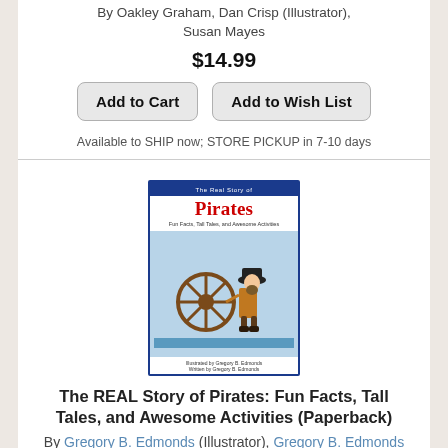By Oakley Graham, Dan Crisp (Illustrator), Susan Mayes
$14.99
Add to Cart
Add to Wish List
Available to SHIP now; STORE PICKUP in 7-10 days
[Figure (photo): Book cover for 'The REAL Story of Pirates: Fun Facts, Tall Tales, and Awesome Activities' showing a pirate at a ship's wheel on a blue background]
The REAL Story of Pirates: Fun Facts, Tall Tales, and Awesome Activities (Paperback)
By Gregory B. Edmonds (Illustrator), Gregory B. Edmonds
$12.95